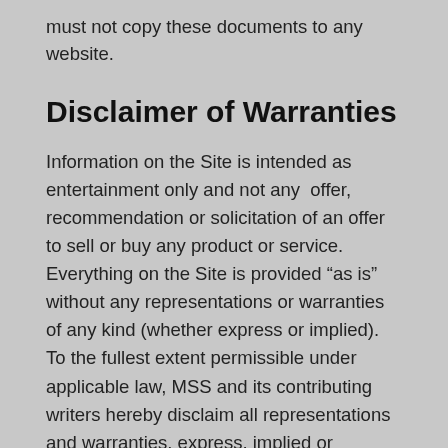must not copy these documents to any website.
Disclaimer of Warranties
Information on the Site is intended as entertainment only and not any offer, recommendation or solicitation of an offer to sell or buy any product or service. Everything on the Site is provided “as is” without any representations or warranties of any kind (whether express or implied). To the fullest extent permissible under applicable law, MSS and its contributing writers hereby disclaim all representations and warranties, express, implied or statutory, including, without limitation, all implied warranties of title, non-infringement, merchantability, and fitness for a particular purpose, and all representations and warranties (1) relating to the adequacy, timeliness, accuracy or completeness of any Information on the Site, (2)